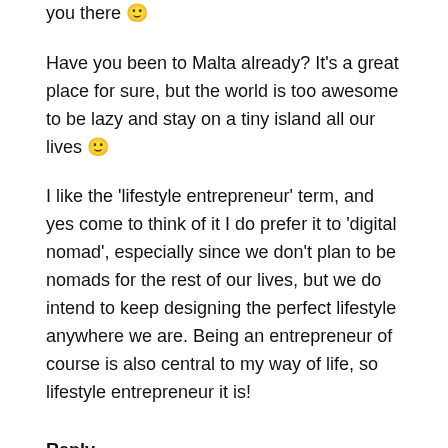you there 🙂
Have you been to Malta already? It's a great place for sure, but the world is too awesome to be lazy and stay on a tiny island all our lives 🙂
I like the 'lifestyle entrepreneur' term, and yes come to think of it I do prefer it to 'digital nomad', especially since we don't plan to be nomads for the rest of our lives, but we do intend to keep designing the perfect lifestyle anywhere we are. Being an entrepreneur of course is also central to my way of life, so lifestyle entrepreneur it is!
Reply